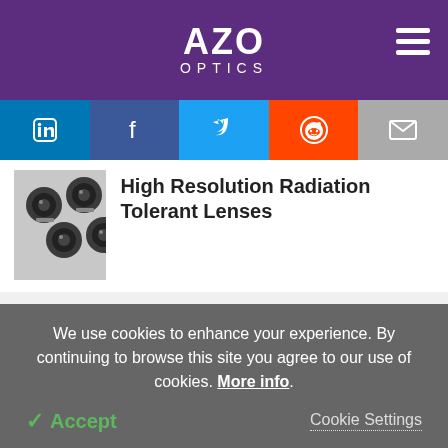AZO OPTICS
[Figure (screenshot): Social media share buttons: LinkedIn, Facebook, Twitter, Reddit, Email]
[Figure (photo): Photo of high resolution radiation tolerant lenses - multiple small dark lens assemblies on a white surface]
High Resolution Radiation Tolerant Lenses
See all content from Resolve Optics Ltd.
Other Sites from AZoNetwork
We use cookies to enhance your experience. By continuing to browse this site you agree to our use of cookies. More info.
✓ Accept
Cookie Settings